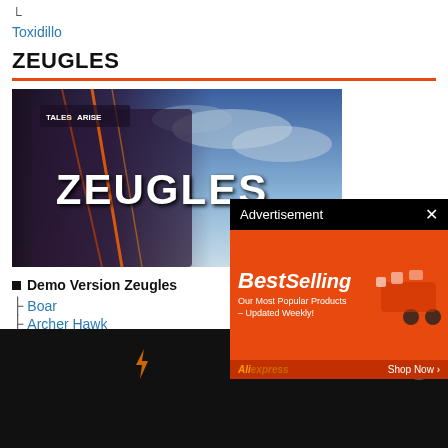└ Toxidillo
ZEUGLES
[Figure (screenshot): Tales of Arise game banner image showing armored character with glowing weapons against a dramatic sky, with large white text 'ZEUGLES' overlaid in the center-right.]
■ Demo Version Zeugles
├ Boar
├ Archer Hawk
├ Blooming Roper
├ Granilem
[Figure (screenshot): Advertisement overlay popup with black header bar showing 'Advertisement' and X close button, and an AliExpress orange banner ad showing 'BestSelling Our Most Popular Products – Updated Weekly!' with shopping cart icon and 'Shop Now' button.]
[Figure (screenshot): Black bottom navigation bar with orange lightning bolt icon, brackets icon [], and a circle-X button on the right.]